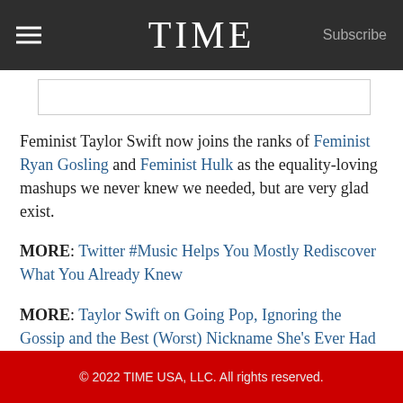TIME  Subscribe
[Figure (other): Partial image placeholder at top of content area]
Feminist Taylor Swift now joins the ranks of Feminist Ryan Gosling and Feminist Hulk as the equality-loving mashups we never knew we needed, but are very glad exist.
MORE: Twitter #Music Helps You Mostly Rediscover What You Already Knew
MORE: Taylor Swift on Going Pop, Ignoring the Gossip and the Best (Worst) Nickname She's Ever Had
© 2022 TIME USA, LLC. All rights reserved.